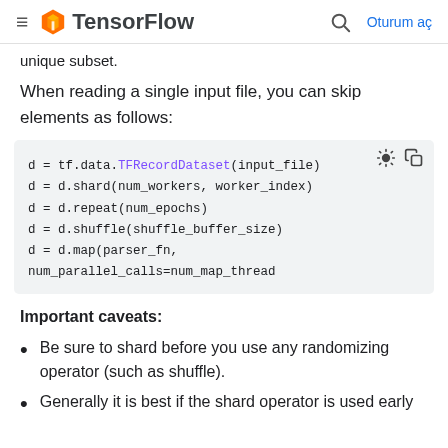TensorFlow | Oturum aç
unique subset.
When reading a single input file, you can skip elements as follows:
[Figure (screenshot): Code block showing: d = tf.data.TFRecordDataset(input_file)
d = d.shard(num_workers, worker_index)
d = d.repeat(num_epochs)
d = d.shuffle(shuffle_buffer_size)
d = d.map(parser_fn, num_parallel_calls=num_map_thread...]
Important caveats:
Be sure to shard before you use any randomizing operator (such as shuffle).
Generally it is best if the shard operator is used early